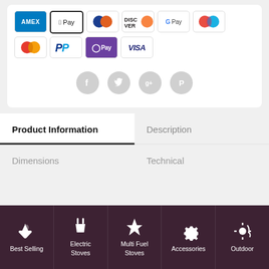[Figure (other): Payment method icons: AMEX, Apple Pay, Diners Club, Discover, Google Pay, Mastercard (two variants), PayPal, O Pay, Visa]
[Figure (other): Social media icons row: Facebook, Twitter, Google+, Pinterest — circular grey icons]
Product Information
Description
Dimensions
Technical
[Figure (other): Footer navigation bar with dark maroon background showing 5 category icons and labels: Best Selling, Electric Stoves, Multi Fuel Stoves, Accessories, Outdoor]